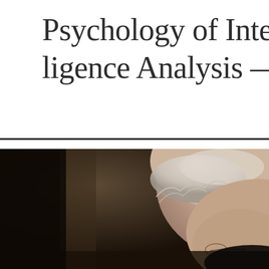Psychology of Intelligence Analysis — Richards
[Figure (photo): Close-up photograph of an elderly man with white hair and glasses, shown from above/side angle, with a blurred dark background. Appears to be Richards, the author referenced in the title.]